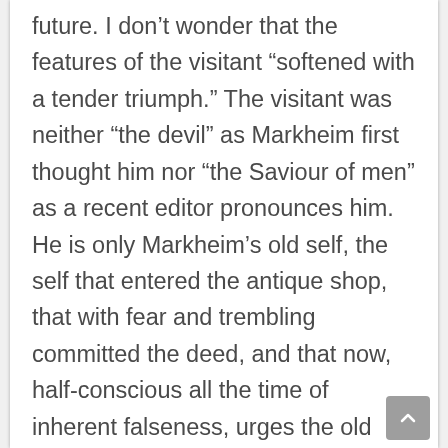future. I don't wonder that the features of the visitant “softened with a tender triumph.” The visitant was neither “the devil” as Markheim first thought him nor “the Saviour of men” as a recent editor pronounces him. He is only Markheim’s old self, the self that entered the antique shop, that with fear and trembling committed the deed, and that now, half-conscious all the time of inherent falseness, urges the old arguments and tries to energize the old purposes. It is this visitant that every man meets and overthrows when he comes